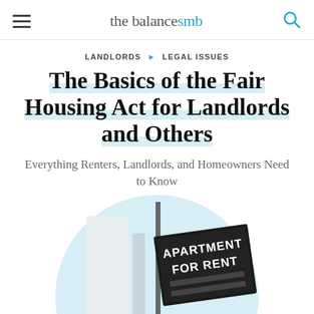the balance smb
LANDLORDS ▶ LEGAL ISSUES
The Basics of the Fair Housing Act for Landlords and Others
Everything Renters, Landlords, and Homeowners Need to Know
[Figure (photo): An 'Apartment For Rent' sign mounted on a post, shown inside a light blue circle background. The sign is black with white text reading APARTMENT FOR RENT with blank lines below.]